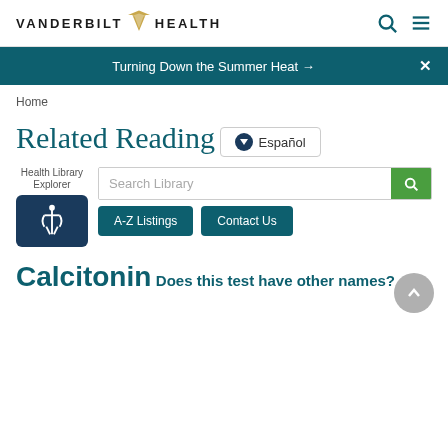VANDERBILT HEALTH
Turning Down the Summer Heat →
Home
Related Reading
Español
Health Library Explorer
Search Library
A-Z Listings
Contact Us
Calcitonin
Does this test have other names?